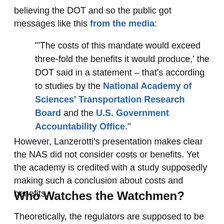believing the DOT and so the public got messages like this from the media:
"'The costs of this mandate would exceed three-fold the benefits it would produce,' the DOT said in a statement – that's according to studies by the National Academy of Sciences' Transportation Research Board and the U.S. Government Accountability Office."
However, Lanzerotti's presentation makes clear the NAS did not consider costs or benefits. Yet the academy is credited with a study supposedly making such a conclusion about costs and benefits.
Who Watches the Watchmen?
Theoretically, the regulators are supposed to be the